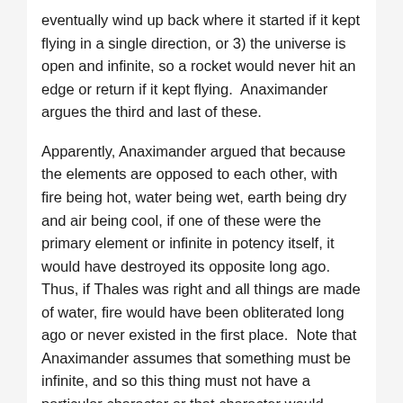eventually wind up back where it started if it kept flying in a single direction, or 3) the universe is open and infinite, so a rocket would never hit an edge or return if it kept flying.  Anaximander argues the third and last of these.
Apparently, Anaximander argued that because the elements are opposed to each other, with fire being hot, water being wet, earth being dry and air being cool, if one of these were the primary element or infinite in potency itself, it would have destroyed its opposite long ago.  Thus, if Thales was right and all things are made of water, fire would have been obliterated long ago or never existed in the first place.  Note that Anaximander assumes that something must be infinite, and so this thing must not have a particular character or that character would obliterate anything else given an infinite